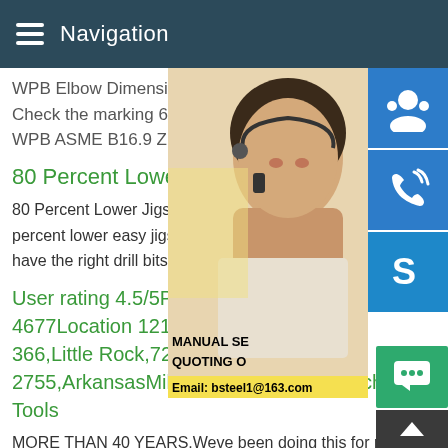Navigation
WPB Elbow Dimensions.ASTM A234 WP 1
Check the marking 6 Sch 40 LR 90 LR B r
WPB ASME B16.9 Z168
80 Percent Lower Tools 80%
80 Percent Lower Jigs Tools.Shop our am... percent lower easy jigs and complete jig s... have the right drill bits,just a jig will work fi...
User rating 4.5/5Phone +1 50... 4677Location 12111 W Markt... 366,Little Rock,72211-2755,ArkansasMilltronics USA CNC Machine Tools
MORE THAN 40 YEARS.Weve been doing this for more than... years and have over 14,000 CNC machines installed globally.... what all those customers will tell you is that if you choose...
[Figure (photo): Woman with headset customer service photo with overlaid text MANUAL SE, QUOTING O, Email: bsteel1@163.com]
[Figure (infographic): Right sidebar with blue customer service icon, blue phone/call icon, and blue Skype icon buttons]